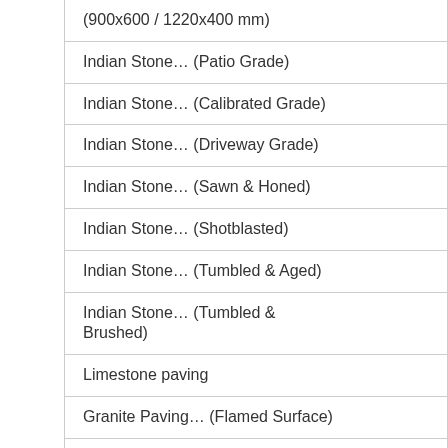| (900x600 / 1220x400 mm) |
| Indian Stone… (Patio Grade) |
| Indian Stone… (Calibrated Grade) |
| Indian Stone… (Driveway Grade) |
| Indian Stone… (Sawn & Honed) |
| Indian Stone… (Shotblasted) |
| Indian Stone… (Tumbled & Aged) |
| Indian Stone… (Tumbled & Brushed) |
| Limestone paving |
| Granite Paving… (Flamed Surface) |
| Cobbles & Setts |